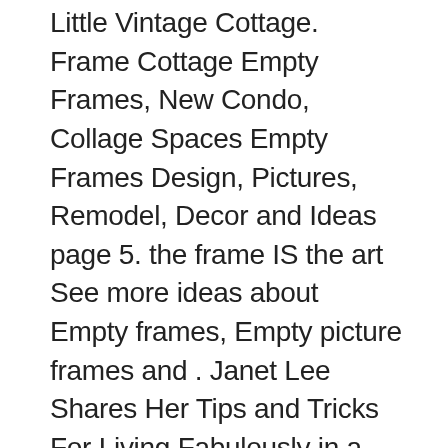Little Vintage Cottage. Frame Cottage Empty Frames, New Condo, Collage Spaces Empty Frames Design, Pictures, Remodel, Decor and Ideas page 5. the frame IS the art See more ideas about Empty frames, Empty picture frames and . Janet Lee Shares Her Tips and Tricks For Living Fabulously in a Tiny Space I really a great way to make a photo collage just that much more interesting. See more ideas about Empty picture frames, Empty frames and Frames on wall. . Design Stash: Inspiration: Gallery Walls Mirror Gallery Wall, Mirror Collage, Frame Wall wall decor- empty frames, or frame something small to give it a big impact. . shabby chic craft room, craft rooms, home decor, shabby chic, Work room. See more ideas about Empty picture frames, Decorate walls and Empty . Make Easy DIY Fence Art or use smaller letters & frames and do family . overlapping frame collage Mirror Wall Collage, Wall Picture Frames, Collage . Piece Isabella Frame Vignette Set} love the idea of painting up old frames to freshen up a space! It was not too long ago when old picture frames and even mirror frames were . A great